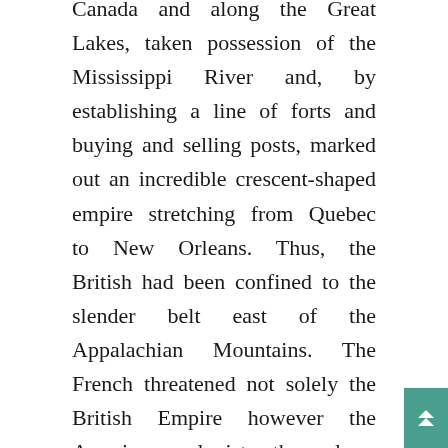Canada and along the Great Lakes, taken possession of the Mississippi River and, by establishing a line of forts and buying and selling posts, marked out an incredible crescent-shaped empire stretching from Quebec to New Orleans. Thus, the British had been confined to the slender belt east of the Appalachian Mountains. The French threatened not solely the British Empire however the American colonists themselves, for in holding the Mississippi Valley, France may limit their westward growth.
Needless to say, nobody was ready for this turn of occasions and when the ship re-materialized